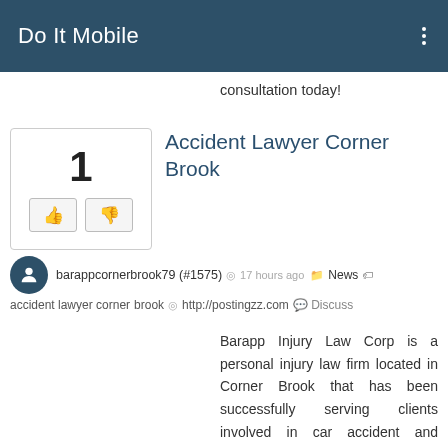Do It Mobile
consultation today!
Accident Lawyer Corner Brook
barappcornerbrook79 (#1575) ◎ 17 hours ago 📁 News 🏷 accident lawyer corner brook ◎ http://postingzz.com 💬 Discuss
Barapp Injury Law Corp is a personal injury law firm located in Corner Brook that has been successfully serving clients involved in car accident and workplace accidents for decades. The lawyers at Barapp Injury Law Corp have decades of experience and the expertise to get the maximum compensation for each and every case. If you or a loved one have been a victim of the negligence of another, contact the Corner Brook lawyers of Barapp Injury Law Corp for a free, no obligation